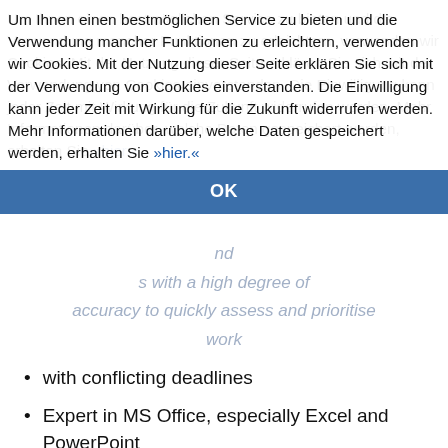[Figure (screenshot): Cookie consent modal overlay on a webpage. The modal shows German text about cookie usage policy with an OK button on a blue bar. Behind the modal, faded background text in blue is partially visible along with a watermark logo.]
Um Ihnen einen bestmöglichen Service zu bieten und die Verwendung mancher Funktionen zu erleichtern, verwenden wir Cookies. Mit der Nutzung dieser Seite erklären Sie sich mit der Verwendung von Cookies einverstanden. Die Einwilligung kann jeder Zeit mit Wirkung für die Zukunft widerrufen werden. Mehr Informationen darüber, welche Daten gespeichert werden, erhalten Sie »hier.«
OK
with conflicting deadlines
Expert in MS Office, especially Excel and PowerPoint
Fluent in German and English is required (written and verbal)
Desirable:
Additional language(s)
Practical work experience in using SAP